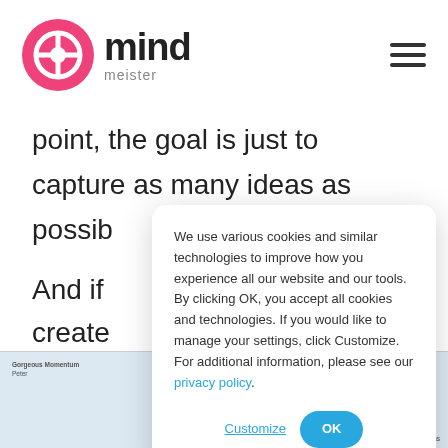mind meister
point, the goal is just to capture as many ideas as possib
And if … ust create … unfinis … e blanks…
[Figure (screenshot): Screenshot of a MindMeister mind map interface showing a mind map with nodes and connections]
We use various cookies and similar technologies to improve how you experience all our website and our tools. By clicking OK, you accept all cookies and technologies. If you would like to manage your settings, click Customize. For additional information, please see our privacy policy.
Customize
OK